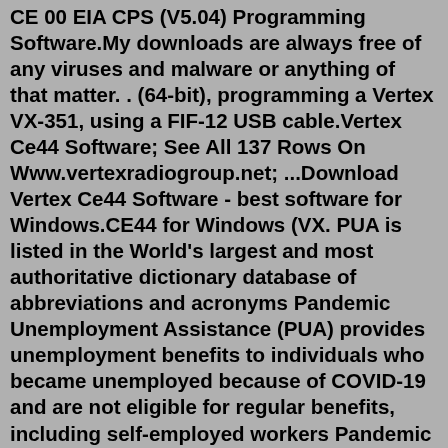CE 00 EIA CPS (V5.04) Programming Software.My downloads are always free of any viruses and malware or anything of that matter. . (64-bit), programming a Vertex VX-351, using a FIF-12 USB cable.Vertex Ce44 Software; See All 137 Rows On Www.vertexradiogroup.net; ...Download Vertex Ce44 Software - best software for Windows.CE44 for Windows (VX. PUA is listed in the World's largest and most authoritative dictionary database of abbreviations and acronyms Pandemic Unemployment Assistance (PUA) provides unemployment benefits to individuals who became unemployed because of COVID-19 and are not eligible for regular benefits, including self-employed workers Pandemic Unemployment Assistance (PUA). January 11, 2021 was a historic day for Twitch, as Spanish streaming sensation David 'TheGrefg' Cánovas Martínez shattered the record for most concurrent viewers, as he revealed his very own.To get more Twitch viewers, all you have to do is select which type you want.Media Mister offers both video